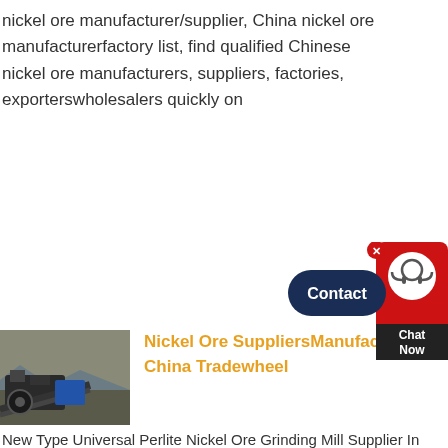nickel ore manufacturer/supplier, China nickel ore manufacturerfactory list, find qualified Chinese nickel ore manufacturers, suppliers, factories, exporterswholesalers quickly on
[Figure (screenshot): Contact button widget with dark navy rounded pill button labeled 'Contact' and a red chat bubble popup with avatar icon and 'Chat Now' label]
[Figure (photo): Photo of industrial mining equipment / grinding mill machinery outdoors with rocky terrain in the background]
Nickel Ore SuppliersManufacturers in China Tradewheel
New Type Universal Perlite Nickel Ore Grinding Mill Supplier In China. FOB Price: 999 99999 USD / Pieces Port: Qingdao or Tianjin Condition New Type Raymond Mill Motor Type AC Motor Capacity (t/h) factory specification